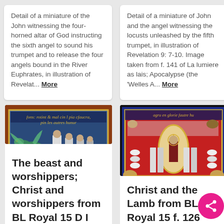Detail of a miniature of the John witnessing the four-horned altar of God instructing the sixth angel to sound his trumpet and to release the four angels bound in the River Euphrates, in illustration of Revelat... More
Detail of a miniature of John and the angel witnessing the locusts unleashed by the fifth trumpet, in illustration of Revelation 9: 7-10. Image taken from f. 141 of La lumiere as lais; Apocalypse (the 'Welles A... More
[Figure (illustration): Medieval illuminated manuscript showing a beast and worshippers scene. Text at top reads 'fons: rotint & mal cin l pia cfaucra, pin les autres hunur'. Colorful figures with blue patterned background.]
[Figure (illustration): Medieval illuminated manuscript showing Christ and the Lamb. Text at top reads 'agru en glorie fautre hu'. Central figure in mandorla surrounded by white figures on red background, with animals in corners.]
The beast and worshippers; Christ and worshippers from BL Royal 15 D I
Christ and the Lamb from BL Royal 15 f. 126